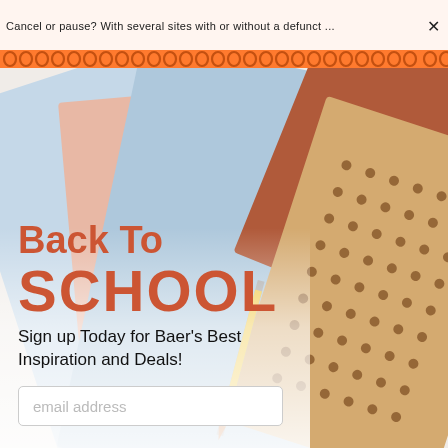Cancel or pause? With several sites with or without a def unct...
[Figure (photo): Back-to-school marketing photo featuring stacked notebooks in light blue, peach, terracotta and kraft colors with polka dots, with a pencil, on a white background]
Back To SCHOOL
Sign up Today for Baer's Best Inspiration and Deals!
email address